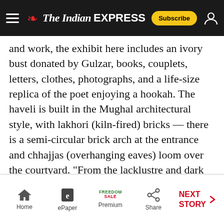The Indian Express
and work, the exhibit here includes an ivory bust donated by Gulzar, books, couplets, letters, clothes, photographs, and a life-size replica of the poet enjoying a hookah. The haveli is built in the Mughal architectural style, with lakhori (kiln-fired) bricks — there is a semi-circular brick arch at the entrance and chhajjas (overhanging eaves) loom over the courtyard. “From the lacklustre and dark Gali Qasim, an order of light emerges,” wrote poet and lyricist Gulzar, immortalising the street where Ghalib spent his last days, in his landmark TV serial, Mirza Ghalib (1988).
Home | ePaper | Premium | Share | NEXT STORY